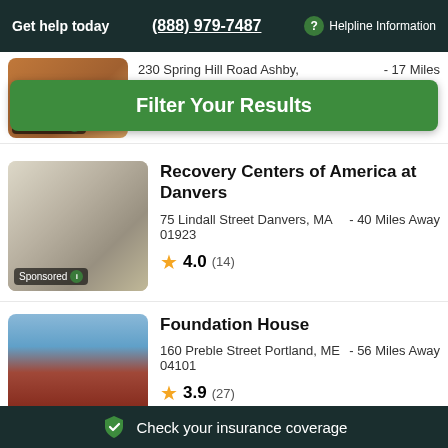Get help today  (888) 979-7487  ? Helpline Information
230 Spring Hill Road Ashby, MA 01431   - 17 Miles Away
Filter Your Results
Sponsored
Recovery Centers of America at Danvers
75 Lindall Street Danvers, MA 01923   - 40 Miles Away
4.0 (14)
Sponsored
Foundation House
160 Preble Street Portland, ME 04101   - 56 Miles Away
3.9 (27)
Check your insurance coverage